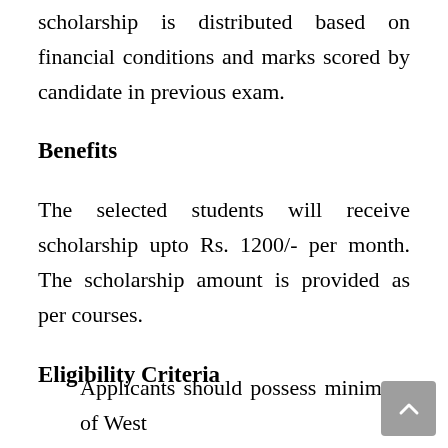scholarship is distributed based on financial conditions and marks scored by candidate in previous exam.
Benefits
The selected students will receive scholarship upto Rs. 1200/- per month. The scholarship amount is provided as per courses.
Eligibility Criteria
Applicants should possess minimum of West...